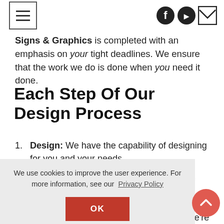[Navigation bar with hamburger menu and social icons: Facebook, YouTube, Email]
Signs & Graphics is completed with an emphasis on your tight deadlines. We ensure that the work we do is done when you need it done.
Each Step Of Our Design Process
Design: We have the capability of designing for you and your needs.
Fabrication & Engineering: Our team of
We use cookies to improve the user experience. For more information, see our Privacy Policy
Installation, Service & Maintenance: We're